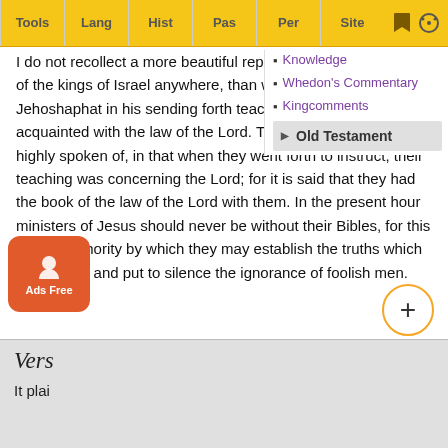Tools | Lang | Hist | Pas | Per | Site
I do not recollect a more beautiful representation given of any of the kings of Israel anywhere, than what is here given of Jehoshaphat in his sending forth teachers to bring his subjects acquainted with the law of the Lord. The teachers also are highly spoken of, in that when they went forth to instruct, their teaching was concerning the Lord; for it is said that they had the book of the law of the Lord with them. In the present hour ministers of Jesus should never be without their Bibles, for this is their authority by which they may establish the truths which they teach; and put to silence the ignorance of foolish men.
Knowledge
Whedon's Commentary
Kingcomments
Old Testament
Vers
It plai